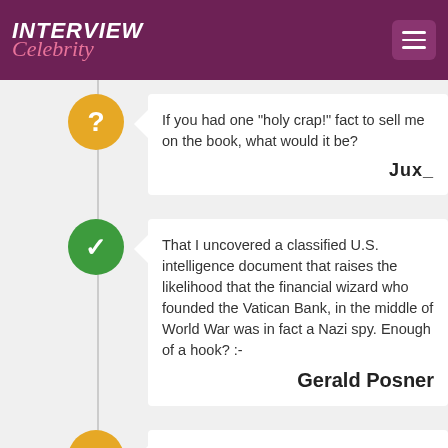INTERVIEW Celebrity
If you had one "holy crap!" fact to sell me on the book, what would it be?
Jux_
That I uncovered a classified U.S. intelligence document that raises the likelihood that the financial wizard who founded the Vatican Bank, in the middle of World War was in fact a Nazi spy. Enough of a hook? :-
Gerald Posner
Hi Gerald. Thanks for all of your work.
1) Many people, such as Karen Hudes (I don't find